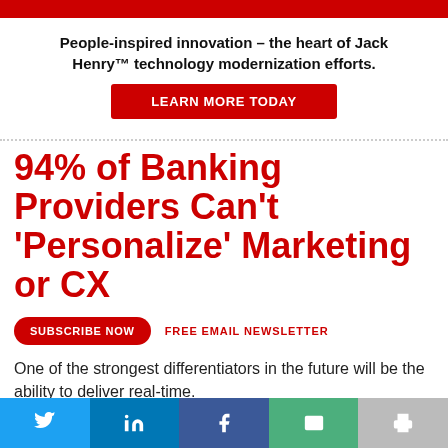People-inspired innovation – the heart of Jack Henry™ technology modernization efforts.
[Figure (other): Red LEARN MORE TODAY button]
94% of Banking Providers Can't 'Personalize' Marketing or CX
[Figure (other): SUBSCRIBE NOW button and FREE EMAIL NEWSLETTER label]
One of the strongest differentiators in the future will be the ability to deliver real-time.
[Figure (other): Social sharing bar with Twitter, LinkedIn, Facebook, Email, and Print buttons]